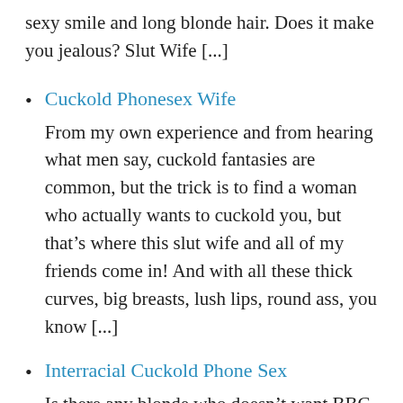sexy smile and long blonde hair. Does it make you jealous? Slut Wife [...]
Cuckold Phonesex Wife
From my own experience and from hearing what men say, cuckold fantasies are common, but the trick is to find a woman who actually wants to cuckold you, but that's where this slut wife and all of my friends come in! And with all these thick curves, big breasts, lush lips, round ass, you know [...]
Interracial Cuckold Phone Sex
Is there any blonde who doesn't want BBC on a cheap phone sex session? If there's anything that I can't get enough of, it's a big